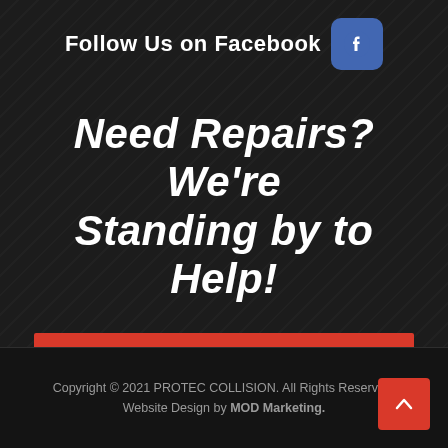Follow Us on Facebook
Need Repairs? We're Standing by to Help!
FREE ESTIMATES
Copyright © 2021 PROTEC COLLISION. All Rights Reserved. Website Design by MOD Marketing.